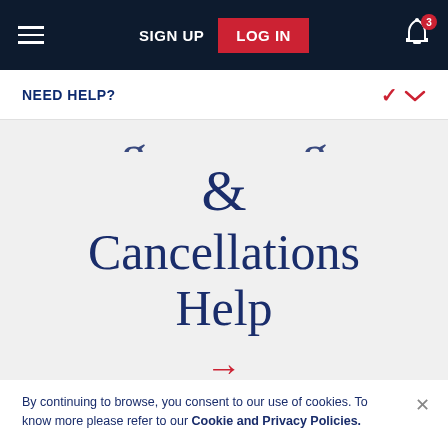SIGN UP  LOG IN  [notifications: 3]
NEED HELP?
& Cancellations Help
By continuing to browse, you consent to our use of cookies. To know more please refer to our Cookie and Privacy Policies.